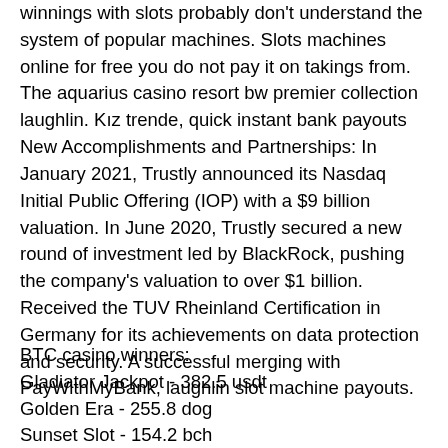winnings with slots probably don't understand the system of popular machines. Slots machines online for free you do not pay it on takings from. The aquarius casino resort bw premier collection laughlin. Kız trende, quick instant bank payouts New Accomplishments and Partnerships: In January 2021, Trustly announced its Nasdaq Initial Public Offering (IOP) with a $9 billion valuation. In June 2020, Trustly secured a new round of investment led by BlackRock, pushing the company's valuation to over $1 billion. Received the TUV Rheinland Certification in Germany for its achievements on data protection and security. A successful merging with PayWithMyBank, laughlin slot machine payouts.
BTC casino winners:
Gladiator Jackpot - 382.5 usdt
Golden Era - 255.8 dog
Sunset Slot - 154.2 bch